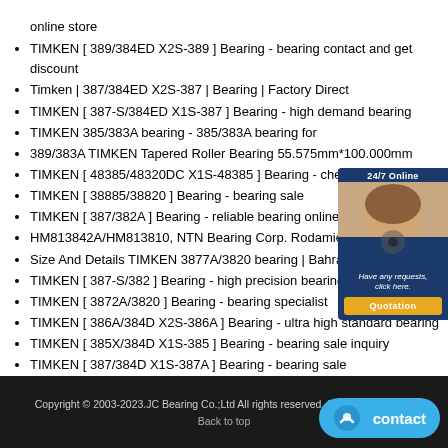online store
TIMKEN [ 389/384ED X2S-389 ] Bearing - bearing contact and get discount
Timken | 387/384ED X2S-387 | Bearing | Factory Direct
TIMKEN [ 387-S/384ED X1S-387 ] Bearing - high demand bearing
TIMKEN 385/383A bearing - 385/383A bearing for
389/383A TIMKEN Tapered Roller Bearing 55.575mm*100.000mm
TIMKEN [ 48385/48320DC X1S-48385 ] Bearing - cheap bearing
TIMKEN [ 38885/38820 ] Bearing - bearing sale
TIMKEN [ 387/382A ] Bearing - reliable bearing online
HM813842A/HM813810, NTN Bearing Corp. Rodamientos
Size And Details TIMKEN 3877A/3820 bearing | Bahrain
TIMKEN [ 387-S/382 ] Bearing - high precision bearing
TIMKEN [ 3872A/3820 ] Bearing - bearing specialist
TIMKEN [ 386A/384D X2S-386A ] Bearing - ultra high standard bearing
TIMKEN [ 385X/384D X1S-385 ] Bearing - bearing sale inquiry
TIMKEN [ 387/384D X1S-387A ] Bearing - bearing sale
Copyright © 2003-2023.JC Bearing Co.;Ltd All rights reserved. | bearing-sale.com
Back to top